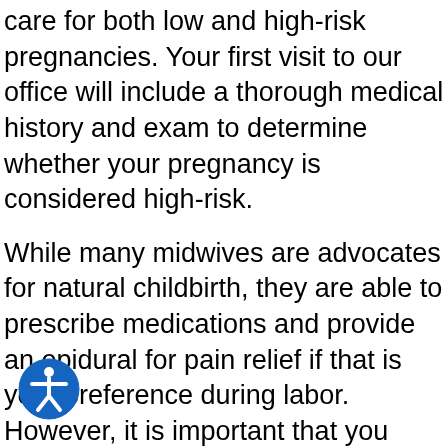care for both low and high-risk pregnancies. Your first visit to our office will include a thorough medical history and exam to determine whether your pregnancy is considered high-risk.
While many midwives are advocates for natural childbirth, they are able to prescribe medications and provide an epidural for pain relief if that is your preference during labor. However, it is important that you understand your midwife's position on pain medication before you select midwifery care.
While research shows that OB/GYNs are more likely to use interventions during birth such as instrument deliveries, that is simply because midwives are legally prohibited from doing so. In a study published